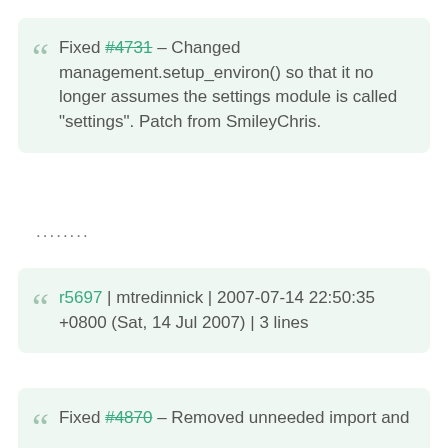Fixed #4731 – Changed management.setup_environ() so that it no longer assumes the settings module is called "settings". Patch from SmileyChris.
.........
r5697 | mtredinnick | 2007-07-14 22:50:35 +0800 (Sat, 14 Jul 2007) | 3 lines
Fixed #4870 – Removed unneeded import and